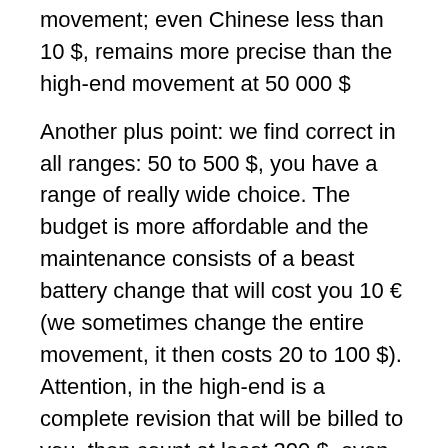movement; even Chinese less than 10 $, remains more precise than the high-end movement at 50 000 $
Another plus point: we find correct in all ranges: 50 to 500 $, you have a range of really wide choice. The budget is more affordable and the maintenance consists of a beast battery change that will cost you 10 € (we sometimes change the entire movement, it then costs 20 to 100 $). Attention, in the high-end is a complete revision that will be billed to you, then count at least 300 $, even much more.
Tomorrow on the blog, the continuation of the file watches of Luc, with as thematic: what style of watch to choose?
WHICH WATCH STYLE TO CHOOSE?
FIRST OF ALL: TRY THE WATCH IN REAL TIME